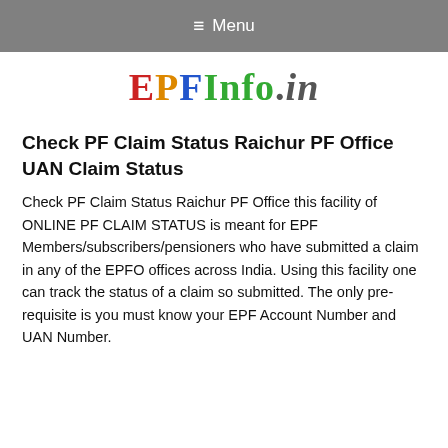≡ Menu
[Figure (logo): EPFInfo.in logo with colorful letters: E in red, P in orange, F in blue, Info in green, .in in dark gray]
Check PF Claim Status Raichur PF Office UAN Claim Status
Check PF Claim Status Raichur PF Office this facility of ONLINE PF CLAIM STATUS is meant for EPF Members/subscribers/pensioners who have submitted a claim in any of the EPFO offices across India. Using this facility one can track the status of a claim so submitted. The only pre-requisite is you must know your EPF Account Number and UAN Number.